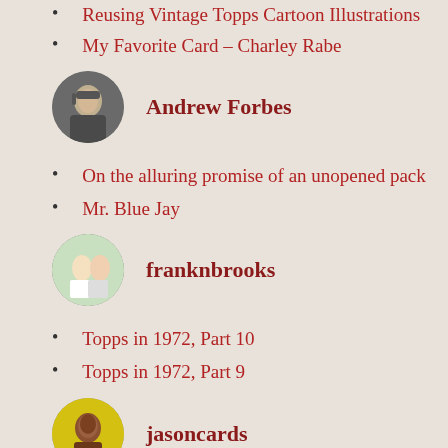Reusing Vintage Topps Cartoon Illustrations
My Favorite Card – Charley Rabe
Andrew Forbes
On the alluring promise of an unopened pack
Mr. Blue Jay
franknbrooks
Topps in 1972, Part 10
Topps in 1972, Part 9
jasoncards
Player collection spotlight – Dave Hoskins